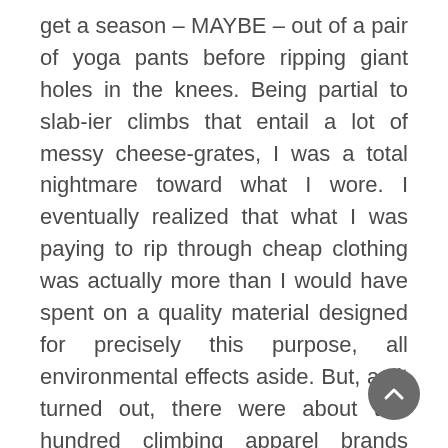get a season – MAYBE – out of a pair of yoga pants before ripping giant holes in the knees. Being partial to slab-ier climbs that entail a lot of messy cheese-grates, I was a total nightmare toward what I wore. I eventually realized that what I was paying to rip through cheap clothing was actually more than I would have spent on a quality material designed for precisely this purpose, all environmental effects aside. But, as it turned out, there were about two hundred climbing apparel brands ready to help me out.
Outdoor retailers tend to be pretty transparent with their production cycle. Sustainability is very on brand for the sport of climbing, and manufacturers are happily filling the ethical gap where fast fashion is going out of style. I have